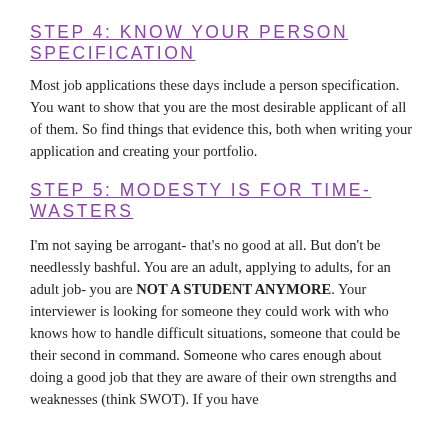STEP 4: KNOW YOUR PERSON SPECIFICATION
Most job applications these days include a person specification. You want to show that you are the most desirable applicant of all of them. So find things that evidence this, both when writing your application and creating your portfolio.
STEP 5: MODESTY IS FOR TIME-WASTERS
I'm not saying be arrogant- that's no good at all. But don't be needlessly bashful. You are an adult, applying to adults, for an adult job- you are NOT A STUDENT ANYMORE. Your interviewer is looking for someone they could work with who knows how to handle difficult situations, someone that could be their second in command. Someone who cares enough about doing a good job that they are aware of their own strengths and weaknesses (think SWOT). If you have